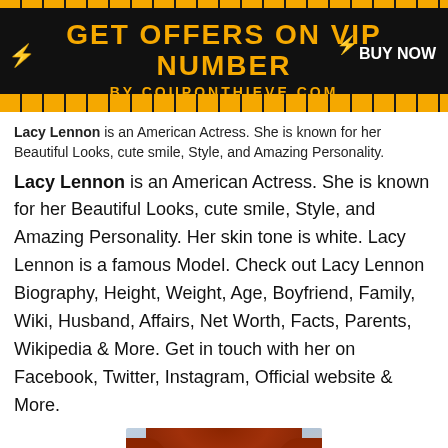[Figure (infographic): Advertisement banner with black background, orange text reading 'GET OFFERS ON VIP NUMBER BY COUPONTHIEVE.COM' with 'BUY NOW' on the right side, orange and black striped borders]
Lacy Lennon is an American Actress. She is known for her Beautiful Looks, cute smile, Style, and Amazing Personality.
Lacy Lennon is an American Actress. She is known for her Beautiful Looks, cute smile, Style, and Amazing Personality. Her skin tone is white. Lacy Lennon is a famous Model. Check out Lacy Lennon Biography, Height, Weight, Age, Boyfriend, Family, Wiki, Husband, Affairs, Net Worth, Facts, Parents, Wikipedia & More. Get in touch with her on Facebook, Twitter, Instagram, Official website & More.
[Figure (photo): Photo of a woman with long red/auburn hair, light skin, against a light blue background, cropped to show head and upper shoulders]